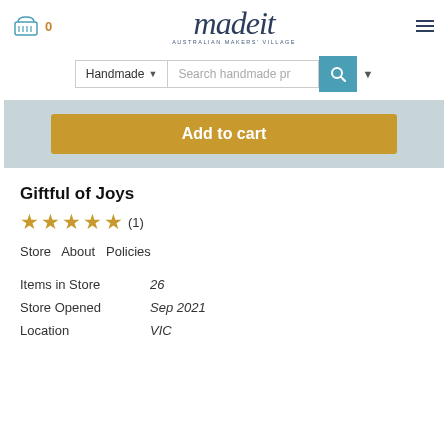madeit AUSTRALIAN MAKERS' VILLAGE
[Figure (screenshot): Search bar with Handmade dropdown and search input field with teal search button]
[Figure (screenshot): Add to cart golden button on grey background]
Giftful of Joys
★★★★★ (1)
Store   About   Policies
Items in Store   26
Store Opened   Sep 2021
Location   VIC